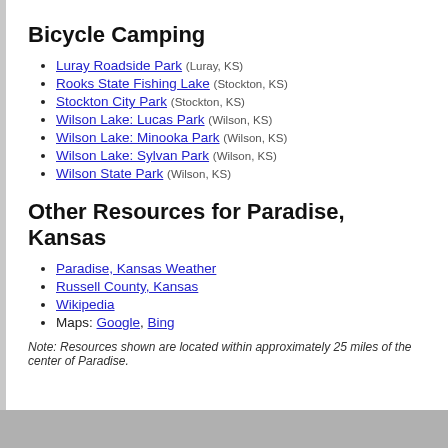Bicycle Camping
Luray Roadside Park (Luray, KS)
Rooks State Fishing Lake (Stockton, KS)
Stockton City Park (Stockton, KS)
Wilson Lake: Lucas Park (Wilson, KS)
Wilson Lake: Minooka Park (Wilson, KS)
Wilson Lake: Sylvan Park (Wilson, KS)
Wilson State Park (Wilson, KS)
Other Resources for Paradise, Kansas
Paradise, Kansas Weather
Russell County, Kansas
Wikipedia
Maps: Google, Bing
Note: Resources shown are located within approximately 25 miles of the center of Paradise.